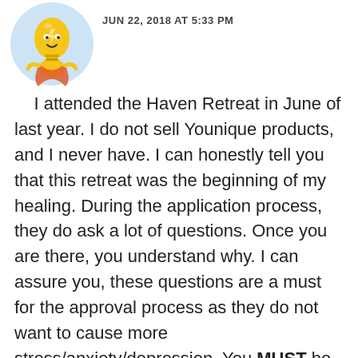[Figure (illustration): Cartoon avatar of a yellow character with a lightbulb head, wearing a cape, inside a light blue circle]
JUN 22, 2018 AT 5:33 PM
I attended the Haven Retreat in June of last year. I do not sell Younique products, and I never have. I can honestly tell you that this retreat was the beginning of my healing. During the application process, they do ask a lot of questions. Once you are there, you understand why. I can assure you, these questions are a must for the approval process as they do not want to cause more stress/anxiety/depression. You MUST be ready to start your healing